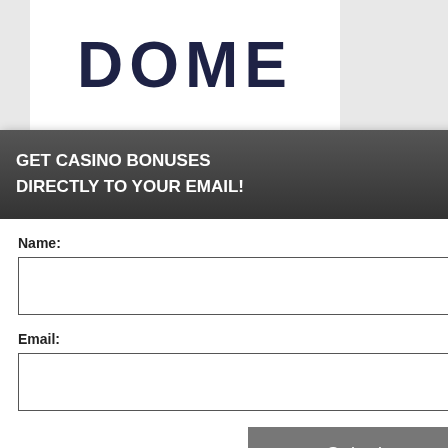[Figure (screenshot): Website screenshot showing a casino bonus popup overlay. Background shows 'DOME' logo in dark navy letters on white, an orange horizontal line, partially visible headline 'GIVES 50 FREE SPINS', partial text about 50 free spins on Bubble, a black cookie/privacy notice box, and a yellow button. In the foreground: a dark gray popup header reading 'GET CASINO BONUSES DIRECTLY TO YOUR EMAIL!' with a close button (X circle), a white form body with Name and Email input fields, a gray Submit button, and disclaimer text about subscribing and privacy policy.]
GET CASINO BONUSES DIRECTLY TO YOUR EMAIL!
Name:
Email:
Submit
By subscribing you are certifying that you have reviewed and accepted our updated Privacy and Cookie policy.
GIVES 50 FREE SPINS
e 50 free spins on Bubble
t sign
berience, we use Using this site, okie & privacy policy.
ian,
a